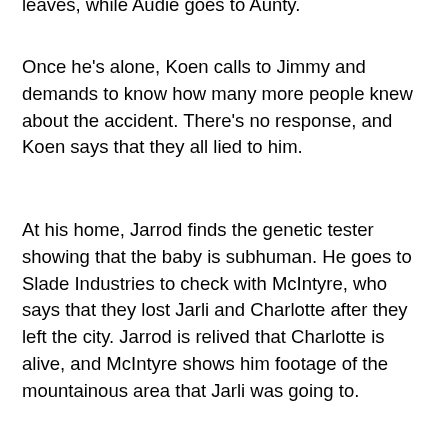leaves, while Audie goes to Aunty.
Once he's alone, Koen calls to Jimmy and demands to know how many more people knew about the accident. There's no response, and Koen says that they all lied to him.
At his home, Jarrod finds the genetic tester showing that the baby is subhuman. He goes to Slade Industries to check with McIntyre, who says that they lost Jarli and Charlotte after they left the city. Jarrod is relived that Charlotte is alive, and McIntyre shows him footage of the mountainous area that Jarli was going to.
Boondee and Araluen wonder what happened to Latani, and hope that she found a way out. He says that he has to go, kisses his wife, and explains that they forced him to take the treatment. Boondee insists that he never would have chosen it, and leaves.
Marion approaches Waruu and shows him the polling results. They've dropped and it's in response to Waruu's appointment